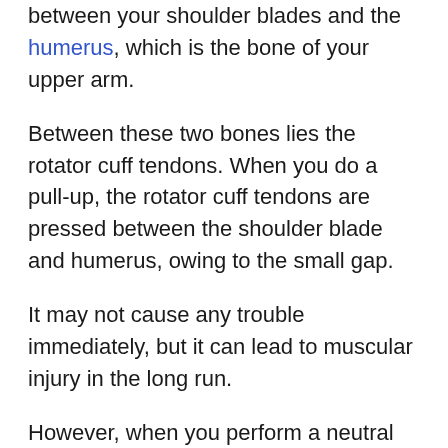between your shoulder blades and the humerus, which is the bone of your upper arm.
Between these two bones lies the rotator cuff tendons. When you do a pull-up, the rotator cuff tendons are pressed between the shoulder blade and humerus, owing to the small gap.
It may not cause any trouble immediately, but it can lead to muscular injury in the long run.
However, when you perform a neutral grip pull-up, the gap between the shoulder blade and humerus is significantly improved, and the stress on the rotator cutoff tendons is significantly reduced, and the risk of shoulder impingement decreases a